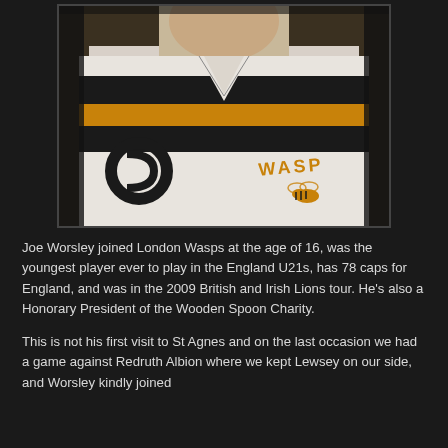[Figure (photo): Close-up photo of a man wearing a white Wasps rugby jersey with black and gold/yellow horizontal stripes, the Wasps wasp logo visible on the right chest, and a circular sponsor logo on the left. The photo is cropped at the neck/collar area.]
Joe Worsley joined London Wasps at the age of 16, was the youngest player ever to play in the England U21s, has 78 caps for England, and was in the 2009 British and Irish Lions tour. He's also a Honorary President of the Wooden Spoon Charity.
This is not his first visit to St Agnes and on the last occasion we had a game against Redruth Albion where we kept Lewsey on our side, and Worsley kindly joined